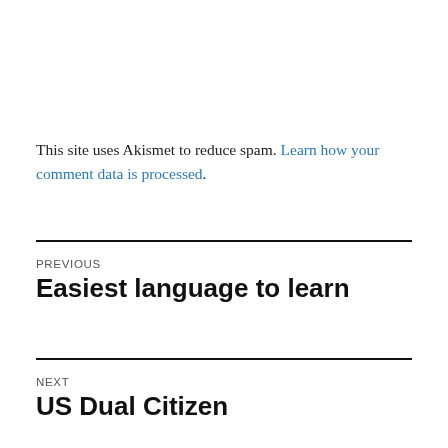This site uses Akismet to reduce spam. Learn how your comment data is processed.
PREVIOUS
Easiest language to learn
NEXT
US Dual Citizen